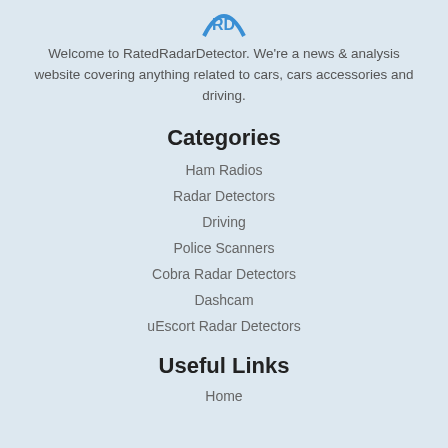[Figure (logo): RatedRadarDetector logo partially visible at top]
Welcome to RatedRadarDetector. We're a news & analysis website covering anything related to cars, cars accessories and driving.
Categories
Ham Radios
Radar Detectors
Driving
Police Scanners
Cobra Radar Detectors
Dashcam
uEscort Radar Detectors
Useful Links
Home